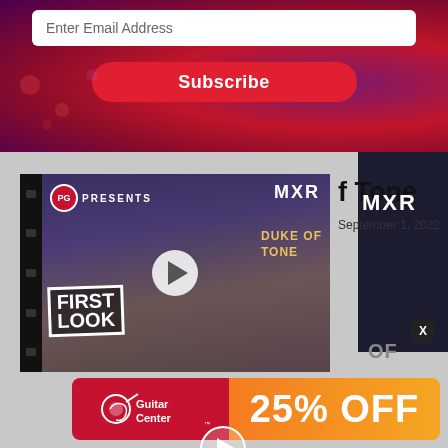Enter Email Address
Subscribe
[Figure (screenshot): Video thumbnail showing PG Presents MXR Duke of Tone First Look video with guitarist holding guitar, play button overlay]
f Tone
September 1, 2022
[Figure (logo): Guitar Center logo on red background with 25% OFF text on orange gradient background advertisement banner]
25% OFF
MXR
OF
X